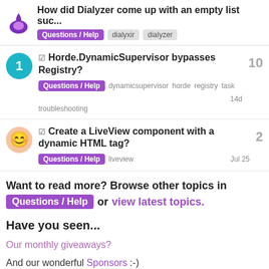How did Dialyzer come up with an empty list suc... Questions / Help  dialyxir  dialyzer
☑ Horde.DynamicSupervisor bypasses Registry?
Questions / Help  dynamicsupervisor  horde  registry  task  14d  troubleshooting
10
☑ Create a LiveView component with a dynamic HTML tag?
Questions / Help  liveview  Jul 25
2
Want to read more? Browse other topics in Questions / Help or view latest topics.
Have you seen...
Our monthly giveaways?
And our wonderful Sponsors :-)